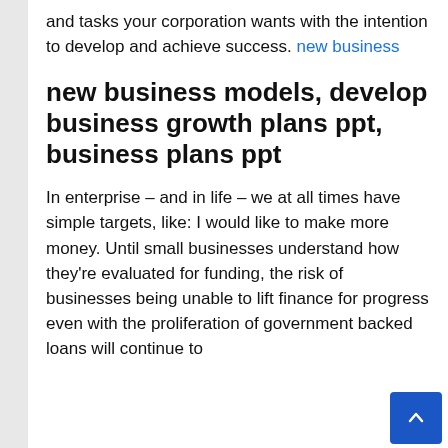and tasks your corporation wants with the intention to develop and achieve success. new business
new business models, develop business growth plans ppt, business plans ppt
In enterprise – and in life – we at all times have simple targets, like: I would like to make more money. Until small businesses understand how they're evaluated for funding, the risk of businesses being unable to lift finance for progress even with the proliferation of government backed loans will continue to